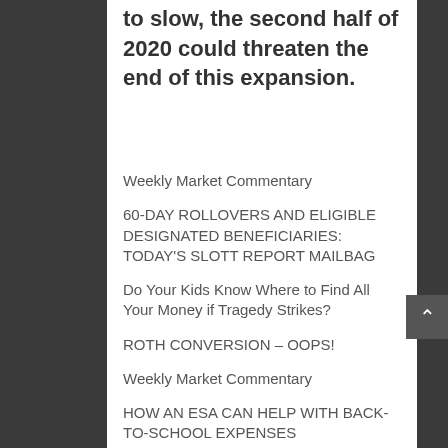to slow, the second half of 2020 could threaten the end of this expansion.
Weekly Market Commentary
60-DAY ROLLOVERS AND ELIGIBLE DESIGNATED BENEFICIARIES: TODAY'S SLOTT REPORT MAILBAG
Do Your Kids Know Where to Find All Your Money if Tragedy Strikes?
ROTH CONVERSION – OOPS!
Weekly Market Commentary
HOW AN ESA CAN HELP WITH BACK-TO-SCHOOL EXPENSES
ELIGIBLE DESIGNATED BENEFICIARIES AND RMD AGGREGATION: TODAY'S SLOTT REPORT